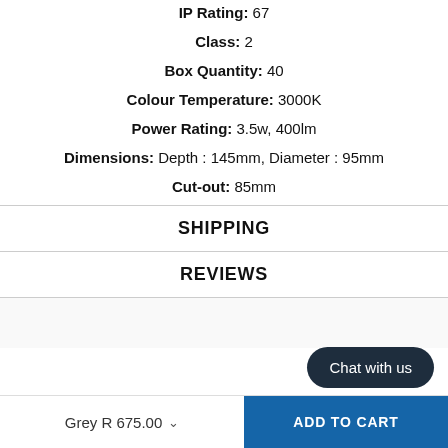IP Rating: 67
Class: 2
Box Quantity: 40
Colour Temperature: 3000K
Power Rating: 3.5w, 400lm
Dimensions: Depth : 145mm, Diameter : 95mm
Cut-out: 85mm
SHIPPING
REVIEWS
Chat with us
Grey R 675.00
ADD TO CART